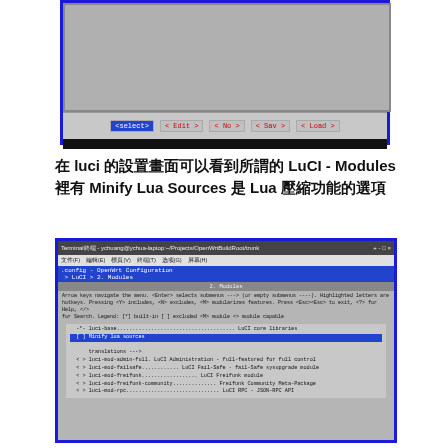[Figure (screenshot): Screenshot of a terminal/configuration window showing a menu with buttons: <select>, < Edit >, < No > (red), < Sav >, < Load >]
在 luci 的设置画面可以看到所谓的 LuCI - Modules 里有 Minify Lua Sources 是 Lua 压缩功能的选项
[Figure (screenshot): Screenshot of a terminal window showing .config - OpenWrt Configuration > LuCI > 2. Modules menu, with items including luci-base (LuCI core libraries), Minify lua sources (highlighted in blue), translations -->, luci-mod-admin-full (LuCI Administration - full-featured for full control), luci-mod-failsafe (LuCI Fail-Safe - fail-Safe sysupgrade module), luci-mod-freifunk (LuCI Freifunk module), luci-mod-freifunk-community (Freifunk Community Meta-Package), luci-mod-rpc (LuCI RPC - JSON-RPC API)]